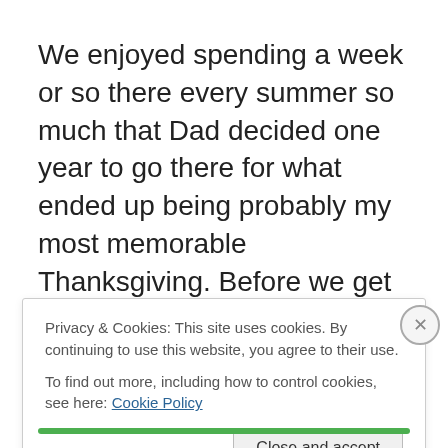We enjoyed spending a week or so there every summer so much that Dad decided one year to go there for what ended up being probably my most memorable Thanksgiving. Before we get into details of the trip, however, I need to tell you a bit about Ute Park and our cabin.

Ute Park sits at an elevation of a bit over 7400 feet above
Privacy & Cookies: This site uses cookies. By continuing to use this website, you agree to their use.
To find out more, including how to control cookies, see here: Cookie Policy